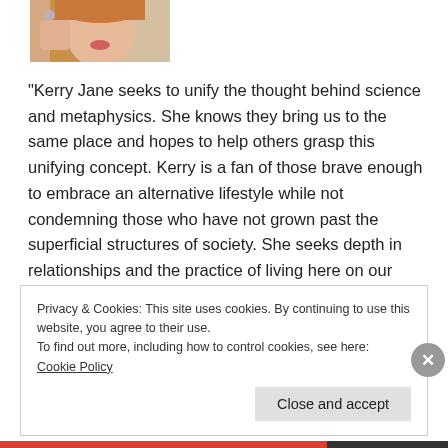[Figure (photo): Partial photo of a young woman with blonde/red hair and jewelry, cropped at top of page]
"Kerry Jane seeks to unify the thought behind science and metaphysics. She knows they bring us to the same place and hopes to help others grasp this unifying concept. Kerry is a fan of those brave enough to embrace an alternative lifestyle while not condemning those who have not grown past the superficial structures of society. She seeks depth in relationships and the practice of living here on our exquisite planet."
Privacy & Cookies: This site uses cookies. By continuing to use this website, you agree to their use.
To find out more, including how to control cookies, see here: Cookie Policy
Close and accept